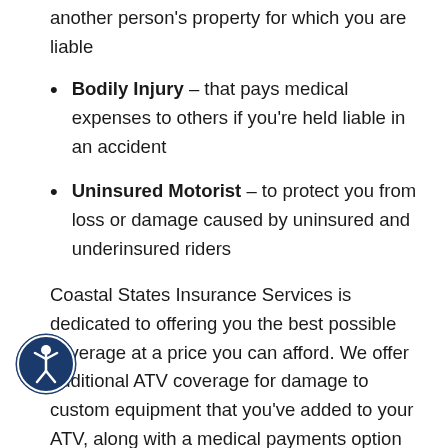another person's property for which you are liable
Bodily Injury – that pays medical expenses to others if you're held liable in an accident
Uninsured Motorist – to protect you from loss or damage caused by uninsured and underinsured riders
Coastal States Insurance Services is dedicated to offering you the best possible coverage at a price you can afford. We offer additional ATV coverage for damage to custom equipment that you've added to your ATV, along with a medical payments option for yourself and passengers. You may also be eligible for money-saving discounts when you insure multiple vehicles or if you've successfully completed a rider safety course